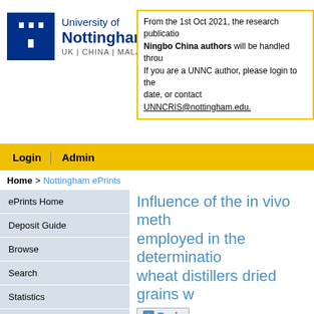[Figure (logo): University of Nottingham logo — blue shield with castle icon, text 'University of Nottingham' and 'UK | CHINA | MALAYSIA']
From the 1st Oct 2021, the research publications of University of Nottingham Ningbo China authors will be handled through UNNC-CRIS. If you are a UNNC author, please login to the UNNC-CRIS portal to update and to add new publications date, or contact UNNCRIS@nottingham.edu.cn.
Login | Admin
Home > Nottingham ePrints
ePrints Home
Deposit Guide
Browse
Search
Statistics
Open Access Support
Nottingham eTheses
Nottingham eDissertations
Influence of the in vivo method employed in the determination of wheat distillers dried grains w...
+ Tools
O'Neill, H.V. Masey and White, G.A. and Li, D... (2014) Influence of the in vivo method and ba... of the amino acid digestibility of wheat distille... Science, 93 (5). pp. 1178-1185. ISSN 1525-3...
Full text not available from this repository.
Official URL: https://doi.org/10.3382/ps.2013-...
Abstract
As distillers dried grains with solubles (DDGS... determine their nutritional value for precise fe... digestibility is considered it is known that the...